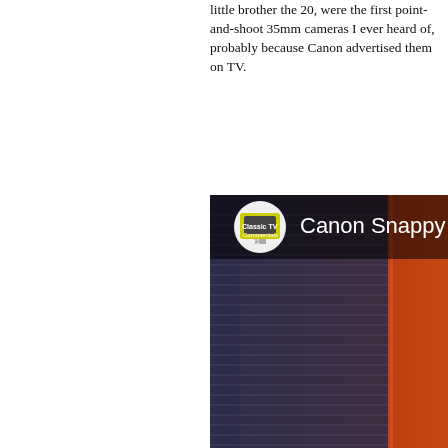Canon's Snappy cameras, the 50 and its little brother the 20, were the first point-and-shoot 35mm cameras I ever heard of, probably because Canon advertised them on TV.
[Figure (screenshot): YouTube video thumbnail showing a Canon Snappy 3... video from Classic TV Commercials channel. The thumbnail shows a close-up of a Canon camera with orange and dark tones. A play button is visible in the center. The text 'Can' and 'AUTOMATIC' are partially visible on the camera body.]